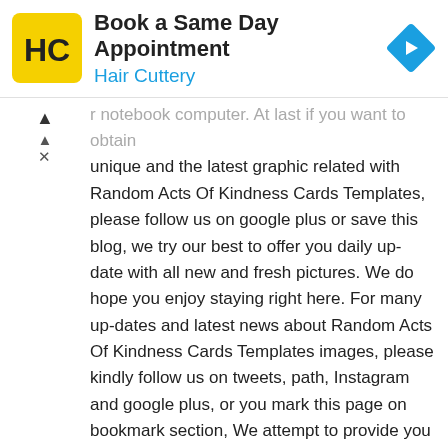[Figure (infographic): Hair Cuttery advertisement banner with logo, title 'Book a Same Day Appointment', subtitle 'Hair Cuttery', and a blue diamond-shaped arrow icon on the right.]
r notebook computer. At last if you want to obtain unique and the latest graphic related with Random Acts Of Kindness Cards Templates, please follow us on google plus or save this blog, we try our best to offer you daily up-date with all new and fresh pictures. We do hope you enjoy staying right here. For many up-dates and latest news about Random Acts Of Kindness Cards Templates images, please kindly follow us on tweets, path, Instagram and google plus, or you mark this page on bookmark section, We attempt to provide you with up-date regularly with all new and fresh images, like your searching, and find the ideal for you.
Here you are at our site, articleabove Random Acts Of Kindness Cards Templates published. At this time we're